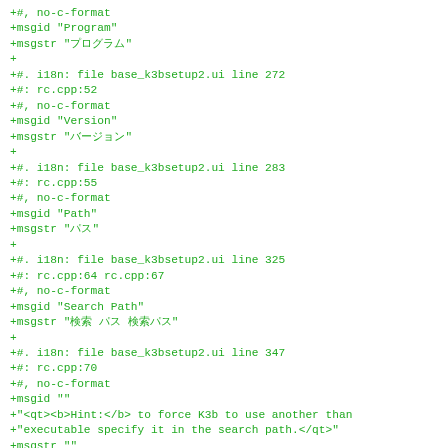+#, no-c-format
+msgid "Program"
+msgstr "プログラム"
+
+#. i18n: file base_k3bsetup2.ui line 272
+#: rc.cpp:52
+#, no-c-format
+msgid "Version"
+msgstr "バージョン"
+
+#. i18n: file base_k3bsetup2.ui line 283
+#: rc.cpp:55
+#, no-c-format
+msgid "Path"
+msgstr "パス"
+
+#. i18n: file base_k3bsetup2.ui line 325
+#: rc.cpp:64 rc.cpp:67
+#, no-c-format
+msgid "Search Path"
+msgstr "検索 パス 検索パス"
+
+#. i18n: file base_k3bsetup2.ui line 347
+#: rc.cpp:70
+#, no-c-format
+msgid ""
+"<qt><b>Hint:</b> to force K3b to use another than
+"executable specify it in the search path.</qt>"
+msgstr ""
+"<qt><b> ヒント:</b> 別の実行可能ファイルを使用 する場合 には